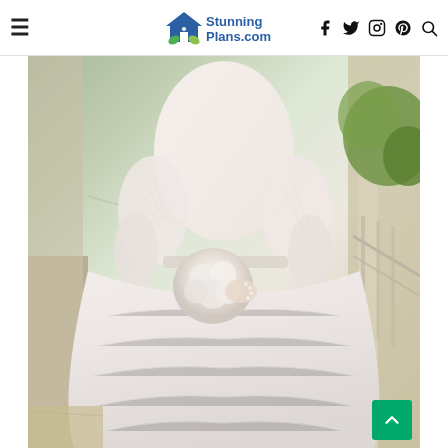StunningPlans.com — navigation header with hamburger menu, logo, and social icons (Facebook, Twitter, Instagram, Pinterest, Search)
[Figure (photo): A bride wearing a white lace wedding dress with long lace sleeves and a full ball-gown skirt, holding a white floral bouquet, standing on a porch or hallway with green foliage visible in the background.]